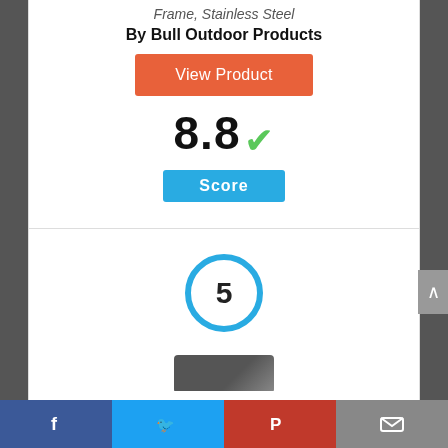Frame, Stainless Steel
By Bull Outdoor Products
[Figure (other): Orange 'View Product' button]
8.8
Score
[Figure (other): Circle badge with number 5]
[Figure (photo): Partial product image at bottom]
[Figure (other): Social sharing bar with Facebook, Twitter, Pinterest, and Email icons]